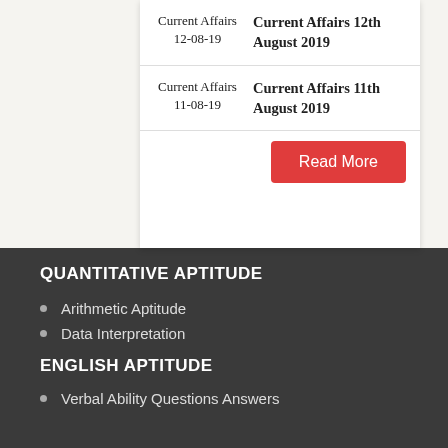|  |  |
| --- | --- |
| Current Affairs 12-08-19 | Current Affairs 12th August 2019 |
| Current Affairs 11-08-19 | Current Affairs 11th August 2019 |
Read More
QUANTITATIVE APTITUDE
Arithmetic Aptitude
Data Interpretation
ENGLISH APTITUDE
Verbal Ability Questions Answers